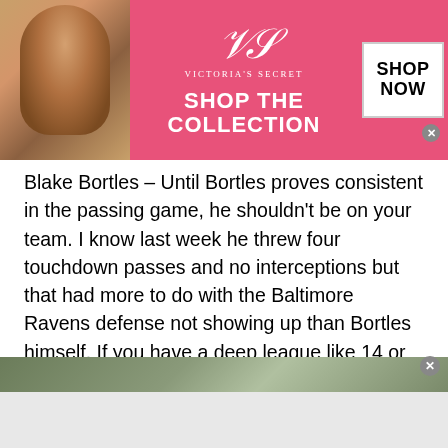[Figure (illustration): Victoria's Secret advertisement banner with pink background, model on left, VS logo and 'Shop the Collection' text in center, 'Shop Now' button on right]
Blake Bortles – Until Bortles proves consistent in the passing game, he shouldn't be on your team. I know last week he threw four touchdown passes and no interceptions but that had more to do with the Baltimore Ravens defense not showing up than Bortles himself. If you have a deep league like 14 or 16 teams he'll be a backup option. We can talk about him more as the bye weeks start and quarterbacks go down. Final Call: Thumbs Down
[Figure (photo): Partial photo strip at bottom of page, appears to show outdoor/nature scene, partially cut off]